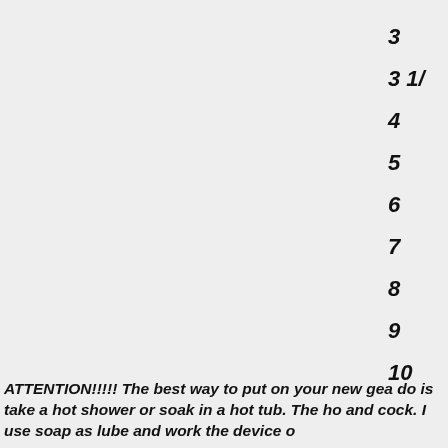3
3 1/
4
5
6
7
8
9
10
ATTENTION!!!!! The best way to put on your new gea do is take a hot shower or soak in a hot tub. The ho and cock. I use soap as lube and work the device o